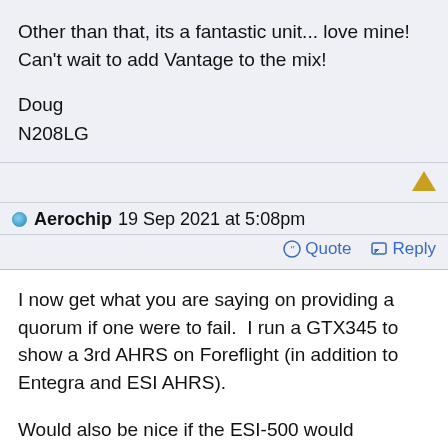Other than that, its a fantastic unit... love mine!
Can't wait to add Vantage to the mix!
Doug
N208LG
Aerochip 19 Sep 2021 at 5:08pm
Quote   Reply
I now get what you are saying on providing a quorum if one were to fail.  I run a GTX345 to show a 3rd AHRS on Foreflight (in addition to Entegra and ESI AHRS).
Would also be nice if the ESI-500 would automatically switch to VLOC from GPS on an ILS approach.